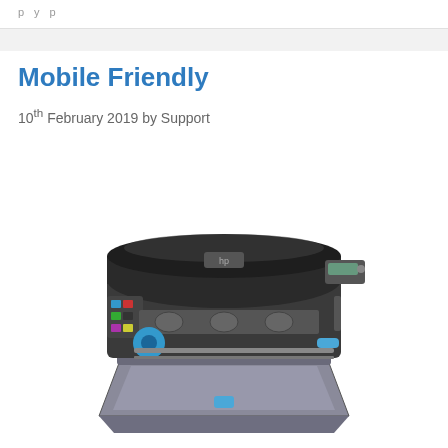p y p
Mobile Friendly
10th February 2019 by Support
[Figure (photo): HP large-format plotter/printer on a wheeled stand with a paper output tray at the bottom, shown in a 3D product render against a white background.]